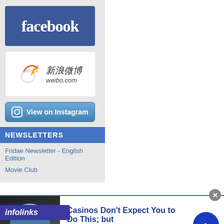[Figure (logo): Facebook logo — white bold text 'facebook' on blue background]
[Figure (logo): Sina Weibo logo — red flame/eye icon with Chinese text '新浪微博' and 'weibo.com']
[Figure (logo): View on Instagram button — camera icon with white text 'View on Instagram' on blue gradient background]
NEWSLETTERS
Fridae Newsletter - English Edition
Movie Club
[Figure (logo): Infolinks ad network logo in blue bar]
[Figure (photo): Advertisement photo of a man in blue shirt]
Casinos Don't Expect You to Do This; but
n/a
daily-winners.com